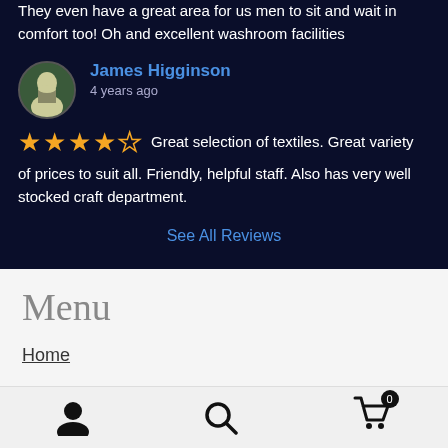They even have a great area for us men to sit and wait in comfort too! Oh and excellent washroom facilities
James Higginson
4 years ago
★★★★☆ Great selection of textiles. Great variety of prices to suit all. Friendly, helpful staff. Also has very well stocked craft department.
See All Reviews
Menu
Home
News